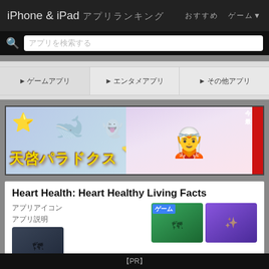iPhone & iPad アプリランキング　　おすすめ　　ゲーム▼
アプリを検索する
►ゲームアプリ
►エンタメアプリ
►その他アプリ
[Figure (illustration): Anime banner advertisement for 天啓パラドクス (Tenkei Paradox) featuring a winking anime girl with white hair, a yellow star, and cartoon sea creatures on a purple-blue gradient background]
Heart Health: Heart Healthy Living Facts
アプリアイコン
アプリ説明
[Figure (screenshot): Mobile game screenshot showing dark aerial view]
[Figure (screenshot): Mobile strategy game screenshot with green grid map and blue badge label]
[Figure (screenshot): Purple background anime magical girl game screenshot]
【PR】